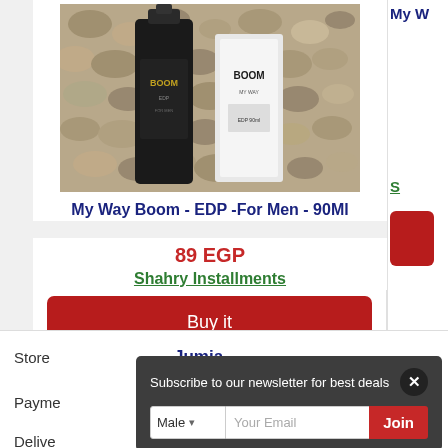[Figure (photo): Product photo of My Way Boom perfume bottles on pebbles background]
My Way Boom - EDP -For Men - 90Ml
89 EGP
Shahry Installments
Buy it
My W
S
Store
Jumia
Payme
Cash
Delive
Subscribe to our newsletter for best deals
Male
Your Email
Join